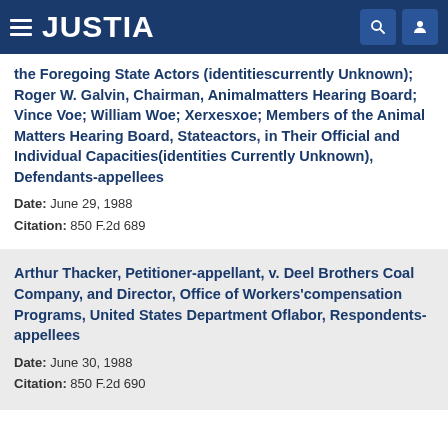JUSTIA
the Foregoing State Actors (identitiescurrently Unknown); Roger W. Galvin, Chairman, Animalmatters Hearing Board; Vince Voe; William Woe; Xerxesxoe; Members of the Animal Matters Hearing Board, Stateactors, in Their Official and Individual Capacities(identities Currently Unknown), Defendants-appellees
Date: June 29, 1988
Citation: 850 F.2d 689
Arthur Thacker, Petitioner-appellant, v. Deel Brothers Coal Company, and Director, Office of Workers'compensation Programs, United States Department Oflabor, Respondents-appellees
Date: June 30, 1988
Citation: 850 F.2d 690